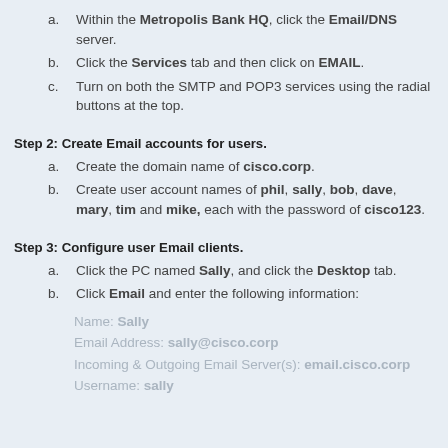a. Within the Metropolis Bank HQ, click the Email/DNS server.
b. Click the Services tab and then click on EMAIL.
c. Turn on both the SMTP and POP3 services using the radial buttons at the top.
Step 2: Create Email accounts for users.
a. Create the domain name of cisco.corp.
b. Create user account names of phil, sally, bob, dave, mary, tim and mike, each with the password of cisco123.
Step 3: Configure user Email clients.
a. Click the PC named Sally, and click the Desktop tab.
b. Click Email and enter the following information:
Name: Sally
Email Address: sally@cisco.corp
Incoming & Outgoing Email Server(s): email.cisco.corp
Username: sally